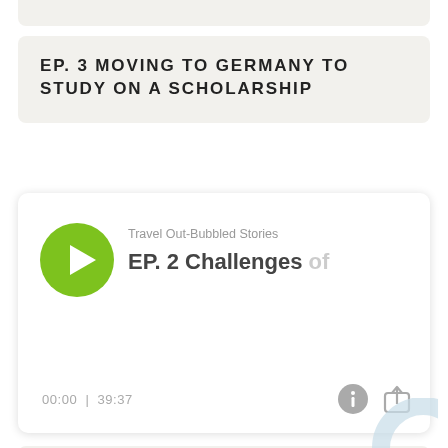EP. 3 MOVING TO GERMANY TO STUDY ON A SCHOLARSHIP
[Figure (screenshot): Podcast player widget showing 'Travel Out-Bubbled Stories' with episode title 'EP. 2 Challenges of' partially visible, green circular play button, time display '00:00 | 39:37', info and share icons]
EP. 2 CHALLENGES OF MOVING TO A NEW COUNTRY. FROM SLOVAKIA TO SWEDEN, AND FROM